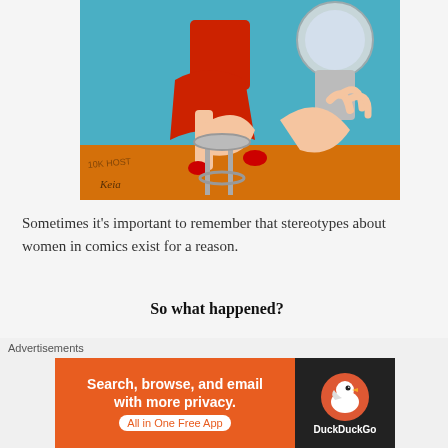[Figure (illustration): Comic book illustration of a woman in a red outfit sitting on a bar stool with her legs crossed and a man wearing a fishbowl helmet nearby, against a blue and orange background. Artist signature 'Keia' visible in lower left.]
Sometimes it's important to remember that stereotypes about women in comics exist for a reason.
So what happened?
Nedor Comics must have been undergoing the same troubles the
Advertisements
[Figure (screenshot): DuckDuckGo advertisement banner. Text reads: Search, browse, and email with more privacy. All in One Free App. DuckDuckGo logo on dark background.]